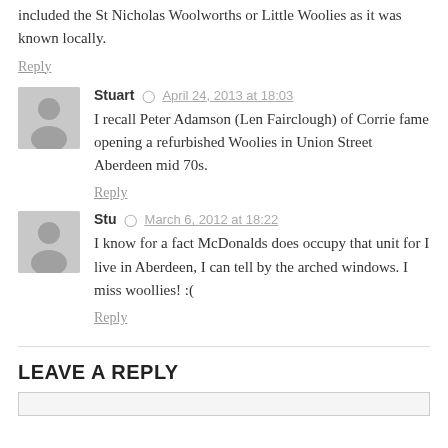included the St Nicholas Woolworths or Little Woolies as it was known locally.
Reply
Stuart  April 24, 2013 at 18:03
I recall Peter Adamson (Len Fairclough) of Corrie fame opening a refurbished Woolies in Union Street Aberdeen mid 70s.
Reply
Stu  March 6, 2012 at 18:22
I know for a fact McDonalds does occupy that unit for I live in Aberdeen, I can tell by the arched windows. I miss woollies! :(
Reply
LEAVE A REPLY